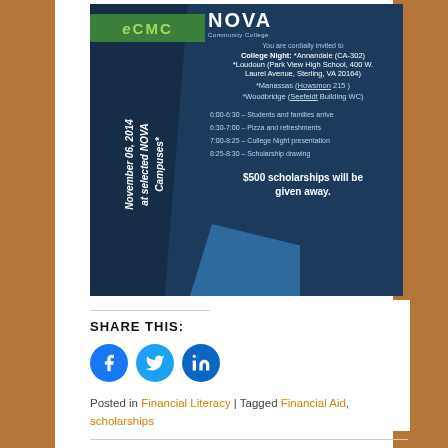[Figure (infographic): ECMC and NOVA Community College College Night event flyer for November 06, 2014 at selected NOVA Campuses. Dark blue background with event schedule and scholarship information.]
SHARE THIS:
[Figure (infographic): Social media sharing icons: Facebook (blue circle with f), Twitter (blue circle with bird), LinkedIn (blue circle with in)]
Posted in Financial Literacy | Tagged Financial Aid, scholarships